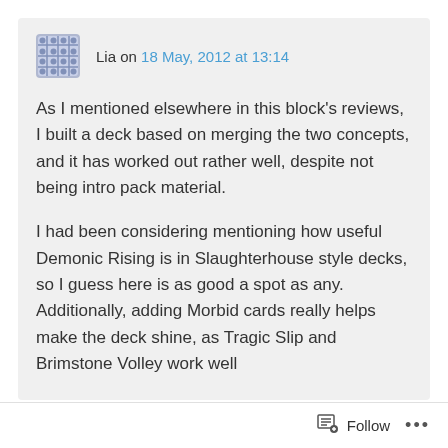Lia on 18 May, 2012 at 13:14
As I mentioned elsewhere in this block's reviews, I built a deck based on merging the two concepts, and it has worked out rather well, despite not being intro pack material.
I had been considering mentioning how useful Demonic Rising is in Slaughterhouse style decks, so I guess here is as good a spot as any. Additionally, adding Morbid cards really helps make the deck shine, as Tragic Slip and Brimstone Volley work well
Follow ...